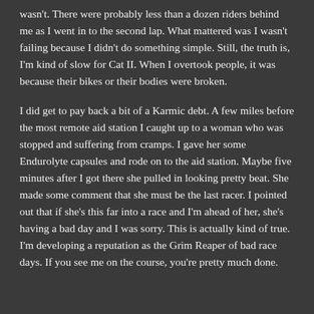wasn't. There were probably less than a dozen riders behind me as I went in to the second lap. What mattered was I wasn't failing because I didn't do something simple. Still, the truth is, I'm kind of slow for Cat II. When I overtook people, it was because their bikes or their bodies were broken.
I did get to pay back a bit of a Karmic debt. A few miles before the most remote aid station I caught up to a woman who was stopped and suffering from cramps. I gave her some Endurolyte capsules and rode on to the aid station. Maybe five minutes after I got there she pulled in looking pretty beat. She made some comment that she must be the last racer. I pointed out that if she's this far into a race and I'm ahead of her, she's having a bad day and I was sorry. This is actually kind of true. I'm developing a reputation as the Grim Reaper of bad race days. If you see me on the course, you're pretty much done.